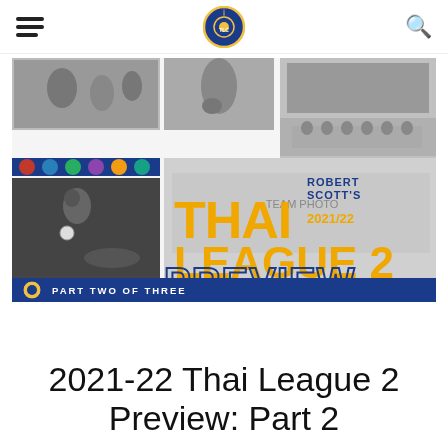Thai League Central (logo)
[Figure (illustration): Thai League 2 2021/22 Preview banner image — Part Two of Three. Shows football action photos in black and white, team badges on blue strip, large orange and blue text reading 'THAI LEAGUE 2 2021/22 PREVIEW', subtitle 'Robert Scott's'. Blue bar at bottom reads 'PART TWO OF THREE'.]
2021-22 Thai League 2 Preview: Part 2